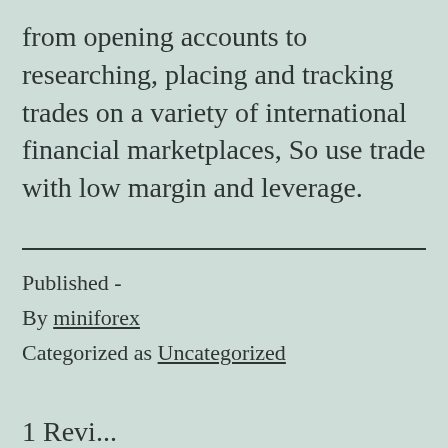from opening accounts to researching, placing and tracking trades on a variety of international financial marketplaces, So use trade with low margin and leverage.
Published -
By miniforex
Categorized as Uncategorized
1 Devi...